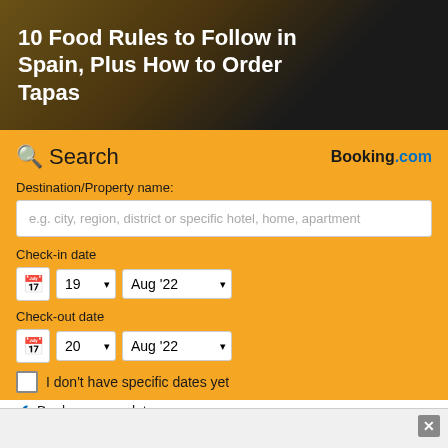10 Food Rules to Follow in Spain, Plus How to Order Tapas
[Figure (screenshot): Booking.com hotel search widget with orange background, search fields for destination, check-in date (19 Aug '22), check-out date (20 Aug '22), checkboxes, and a Search button]
Advertisement